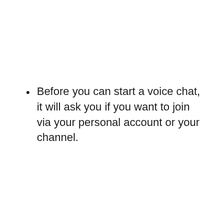Before you can start a voice chat, it will ask you if you want to join via your personal account or your channel.